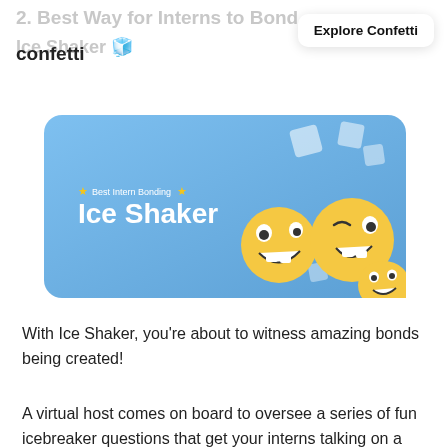2. Best Way for Interns to Bond — Ice Shaker 🧊
confetti | Explore Confetti
[Figure (illustration): Blue rounded-rectangle banner with 'Best Intern Bonding' label and 'Ice Shaker' bold white text on the left, and 3D cartoon yellow emoji faces with ice cubes on the right.]
With Ice Shaker, you're about to witness amazing bonds being created!
A virtual host comes on board to oversee a series of fun icebreaker questions that get your interns talking on a